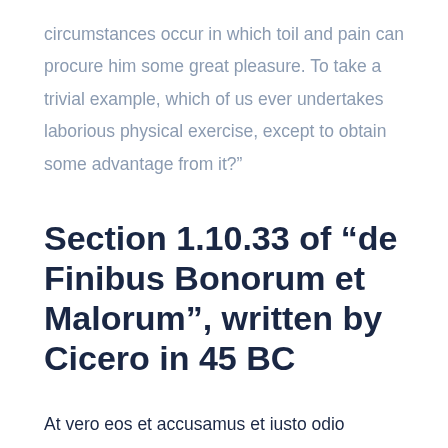circumstances occur in which toil and pain can procure him some great pleasure. To take a trivial example, which of us ever undertakes laborious physical exercise, except to obtain some advantage from it?”
Section 1.10.33 of “de Finibus Bonorum et Malorum”, written by Cicero in 45 BC
At vero eos et accusamus et iusto odio dignissimos ducimus qui blanditiis praesentium voluptatum deleniti atque corrupti quos dolores et quas